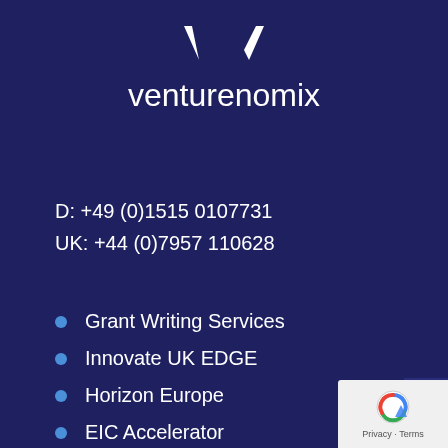[Figure (logo): Venturenomix logo with stylized W/M icon above the wordmark 'venturenomix' in white on dark navy background]
D:  +49 (0)1515 0107731
UK: +44 (0)7957 110628
Grant Writing Services
Innovate UK EDGE
Horizon Europe
EIC Accelerator
Eurostars